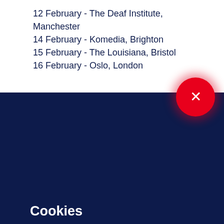12 February - The Deaf Institute, Manchester
14 February - Komedia, Brighton
15 February - The Louisiana, Bristol
16 February - Oslo, London
Cookies
We use cookies to improve your experience on our website, assess how you use our website and for website security purposes. By continuing to navigate this website, we'll assume you agree to this. Read more about what cookies do and how to adjust your settings here.